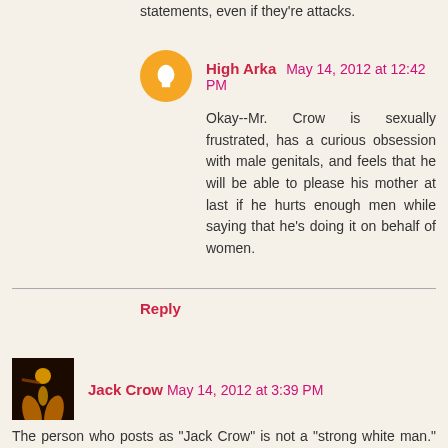statements, even if they're attacks.
High Arka May 14, 2012 at 12:42 PM
Okay--Mr. Crow is sexually frustrated, has a curious obsession with male genitals, and feels that he will be able to please his mother at last if he hurts enough men while saying that he's doing it on behalf of women.
Reply
Jack Crow May 14, 2012 at 3:39 PM
The person who posts as "Jack Crow" is not a "strong white man." "Jack Crow" is an olive-brown skinned half-Indian, half Italian Jew male of the human species, a bit on the short side, somewhat more than chronically ill, suffering from migraines, venous insufficiency and a recently diagnosed lymphatic condition.